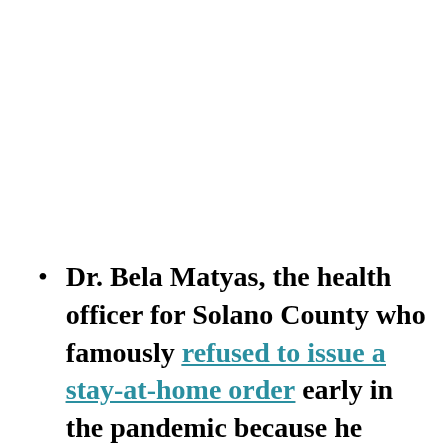Dr. Bela Matyas, the health officer for Solano County who famously refused to issue a stay-at-home order early in the pandemic because he didn't see enough reason for it yet, says he won't follow the CDC's new guidance on